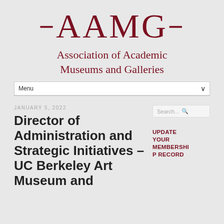[Figure (logo): AAMG logo — stylized text 'AAMG' with decorative dashes in dark red/maroon, followed by the full name 'Association of Academic Museums and Galleries']
Menu
JANUARY 5, 2022
Director of Administration and Strategic Initiatives – UC Berkeley Art Museum and
Search...
UPDATE YOUR MEMBERSHIP RECORD